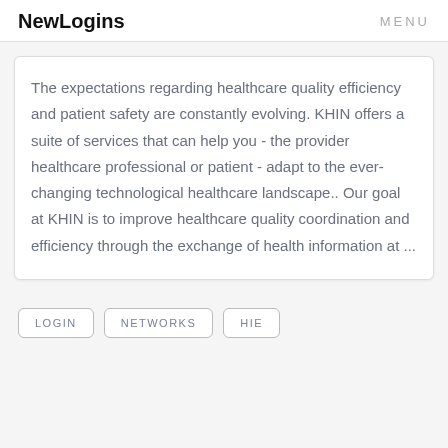NewLogins   MENU
The expectations regarding healthcare quality efficiency and patient safety are constantly evolving. KHIN offers a suite of services that can help you - the provider healthcare professional or patient - adapt to the ever-changing technological healthcare landscape.. Our goal at KHIN is to improve healthcare quality coordination and efficiency through the exchange of health information at ...
LOGIN
NETWORKS
HIE